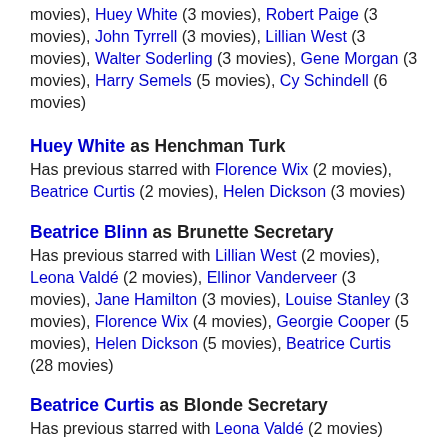movies), Huey White (3 movies), Robert Paige (3 movies), John Tyrrell (3 movies), Lillian West (3 movies), Walter Soderling (3 movies), Gene Morgan (3 movies), Harry Semels (5 movies), Cy Schindell (6 movies)
Huey White as Henchman Turk
Has previous starred with Florence Wix (2 movies), Beatrice Curtis (2 movies), Helen Dickson (3 movies)
Beatrice Blinn as Brunette Secretary
Has previous starred with Lillian West (2 movies), Leona Valdé (2 movies), Ellinor Vanderveer (3 movies), Jane Hamilton (3 movies), Louise Stanley (3 movies), Florence Wix (4 movies), Georgie Cooper (5 movies), Helen Dickson (5 movies), Beatrice Curtis (28 movies)
Beatrice Curtis as Blonde Secretary
Has previous starred with Leona Valdé (2 movies)